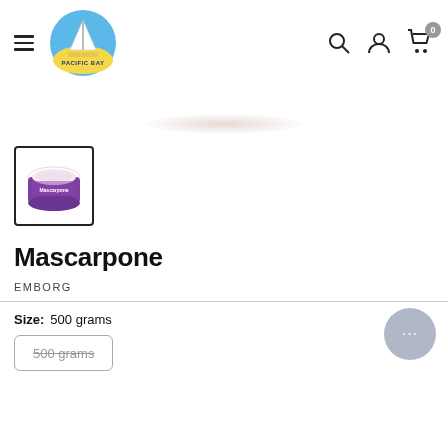Pacific Bay — navigation header with hamburger menu, logo, search, account, and cart icons
[Figure (photo): Product image of Mascarpone in a purple tub, partially visible at top, with a soft shadow below]
[Figure (photo): Thumbnail image of Mascarpone product in a purple tub]
Mascarpone
EMBORG
Size: 500 grams
500 grams (strikethrough)